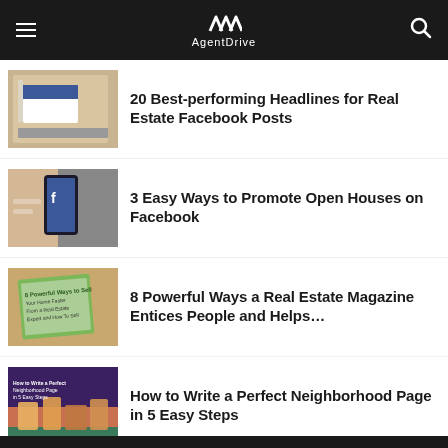AgentDrive
20 Best-performing Headlines for Real Estate Facebook Posts
3 Easy Ways to Promote Open Houses on Facebook
8 Powerful Ways a Real Estate Magazine Entices People and Helps…
How to Write a Perfect Neighborhood Page in 5 Easy Steps